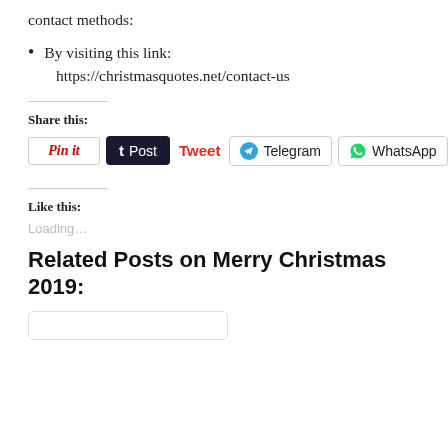contact methods:
By visiting this link:
https://christmasquotes.net/contact-us
Share this:
[Figure (other): Social sharing buttons: Pinit, Post (Tumblr), Tweet, Telegram, WhatsApp]
Like this:
Loading...
Related Posts on Merry Christmas 2019: